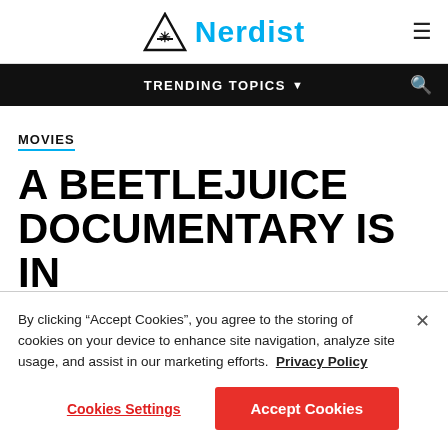Nerdist
TRENDING TOPICS
MOVIES
A BEETLEJUICE DOCUMENTARY IS IN
By clicking “Accept Cookies”, you agree to the storing of cookies on your device to enhance site navigation, analyze site usage, and assist in our marketing efforts. Privacy Policy
Cookies Settings
Accept Cookies